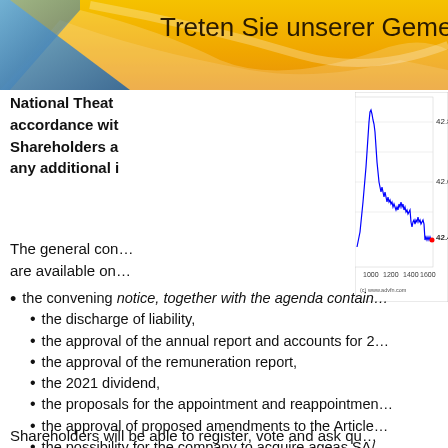Treten Sie unserer Gemeinsch…
National Theat… accordance wit… Shareholders a… any additional i…
[Figure (continuous-plot): Line chart showing stock price movement over time, x-axis from approximately 800 to 1700, y-axis from approximately 42.4 to 42.8. Red dot at rightmost point around 42.4. Copyright (c) www.advfn.com]
The general con… are available on…
the convening… notice, together with the agenda contain…
the discharge of liability,
the approval of the annual report and accounts for 2…
the approval of the remuneration report,
the 2021 dividend,
the proposals for the appointment and reappointmen…
the approval of proposed amendments to the Article…
the possibility for the company to acquire ageas SA/…
Shareholders will be able to register, vote and ask qu…